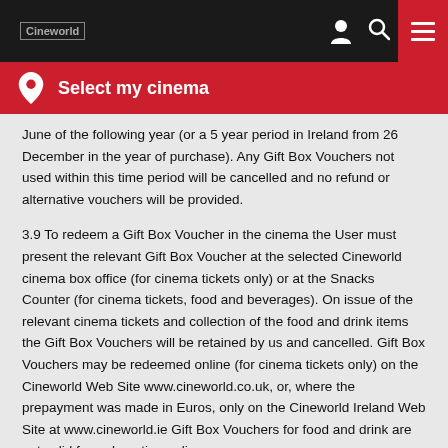Cineworld [logo] | Select my cinema
June of the following year (or a 5 year period in Ireland from 26 December in the year of purchase). Any Gift Box Vouchers not used within this time period will be cancelled and no refund or alternative vouchers will be provided.
3.9 To redeem a Gift Box Voucher in the cinema the User must present the relevant Gift Box Voucher at the selected Cineworld cinema box office (for cinema tickets only) or at the Snacks Counter (for cinema tickets, food and beverages). On issue of the relevant cinema tickets and collection of the food and drink items the Gift Box Vouchers will be retained by us and cancelled. Gift Box Vouchers may be redeemed online (for cinema tickets only) on the Cineworld Web Site www.cineworld.co.uk, or, where the prepayment was made in Euros, only on the Cineworld Ireland Web Site at www.cineworld.ie Gift Box Vouchers for food and drink are not valid for redemption online.
3.10 Gift Boxes are an offer which Cineworld may make available from time to time at its discretion. Gift Boxes are sold on a first come first